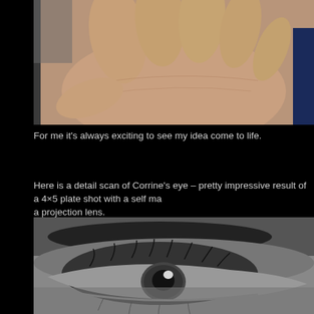[Figure (photo): Close-up photograph of a human hand, skin texture visible, against a dark background with a hint of blue clothing on the right edge.]
For me it's always exciting to see my idea come to life.
Here is a detail scan of Corrine's eye – pretty impressive result of a 4×5 plate shot with a self made a projection lens.
[Figure (photo): Black and white close-up photograph of a human eye (Corrine's eye), showing detailed iris, eyelashes, eyebrow, and skin texture. High detail scan from a 4×5 plate shot.]